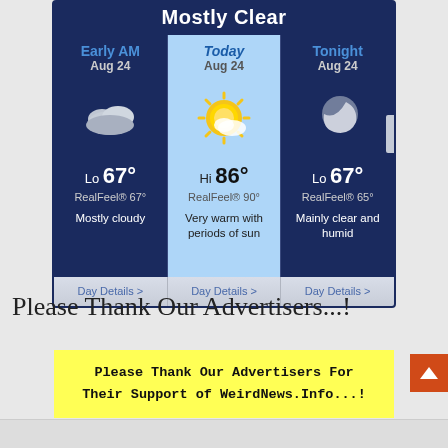[Figure (screenshot): Weather widget showing three panels: Early AM Aug 24 (Lo 67°, RealFeel® 67°, Mostly cloudy), Today Aug 24 (Hi 86°, RealFeel® 90°, Very warm with periods of sun), Tonight Aug 24 (Lo 67°, RealFeel® 65°, Mainly clear and humid). Each panel has a Day Details link at bottom.]
Please Thank Our Advertisers...!
Please Thank Our Advertisers For Their Support of WeirdNews.Info...!